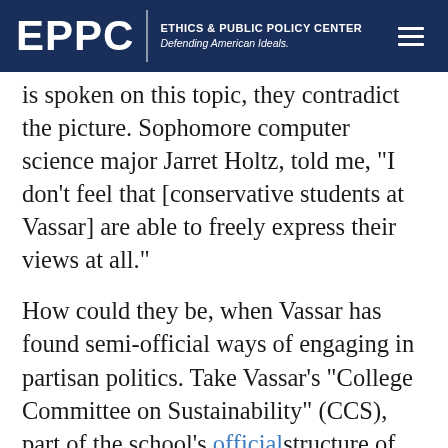EPPC | ETHICS & PUBLIC POLICY CENTER Defending American Ideals.
is spoken on this topic, they contradict the picture. Sophomore computer science major Jarret Holtz, told me, “I don’t feel that [conservative students at Vassar] are able to freely express their views at all.”
How could they be, when Vassar has found semi-official ways of engaging in partisan politics. Take Vassar’s “College Committee on Sustainability” (CCS), part of the school’s official structure of governance. About a week before the 2012 election, the CCS website pointed to the upcoming vote and told students to educate themselves on the issues by